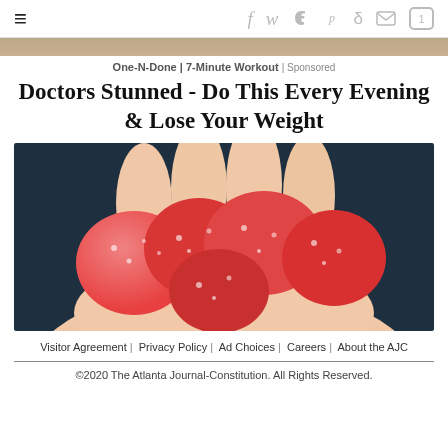≡  f  y  p  d  ✉  ①
One-N-Done | 7-Minute Workout | Sponsored
Doctors Stunned - Do This Every Evening & Lose Your Weight
[Figure (photo): A hand holding several red sugary gummy candies against a dark background]
Visitor Agreement | Privacy Policy | Ad Choices | Careers | About the AJC
©2020 The Atlanta Journal-Constitution. All Rights Reserved.